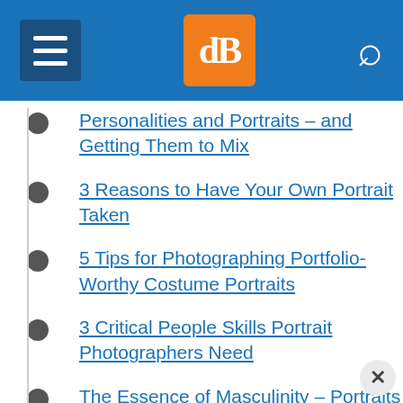dPS navigation header with hamburger menu, dPS logo, and search icon
Personalities and Portraits – and Getting Them to Mix
3 Reasons to Have Your Own Portrait Taken
5 Tips for Photographing Portfolio-Worthy Costume Portraits
3 Critical People Skills Portrait Photographers Need
The Essence of Masculinity – Portraits of Men
5 Corporate-Style Portrait Techniques
5 Tips for Doing Portrait Photography in Bus